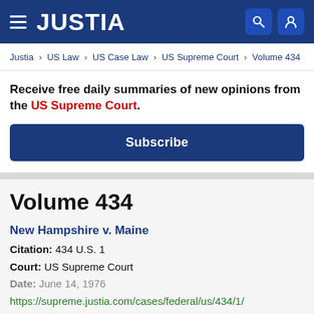JUSTIA
Justia › US Law › US Case Law › US Supreme Court › Volume 434
Receive free daily summaries of new opinions from the US Supreme Court.
Subscribe
Volume 434
New Hampshire v. Maine
Citation: 434 U.S. 1
Court: US Supreme Court
Date: June 14, 1976
https://supreme.justia.com/cases/federal/us/434/1/